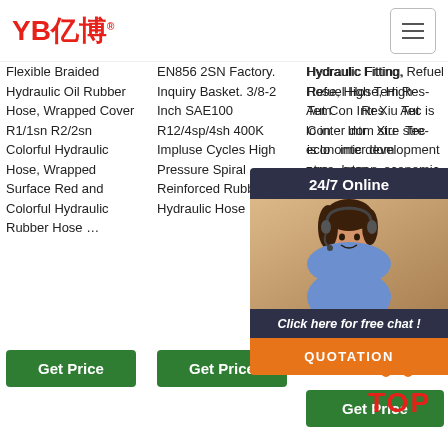[Figure (logo): YB亿博 logo in red text]
Flexible Braided Hydraulic Oil Rubber Hose, Wrapped Cover R1/1sn R2/2sn Colorful Hydraulic Hose, Wrapped Surface Red and Colorful Hydraulic Rubber Hose …
EN856 2SN Factory. Inquiry Basket. 3/8-2 Inch SAE100 R12/4sp/4sh 400K Impluse Cycles High Pressure Spiral Reinforced Rubber Hydraulic Hose …
Hydraulic Fitting, Refuel Hose, High Temperature Resistance, Auto Connector. Introducing Xiuying Technology, is located inter domestic streets, streets, economic development zone, henan …
[Figure (photo): Customer service representative with headset, 24/7 Online chat overlay with QUOTATION button]
Get Price
Get Price
Get Price
[Figure (other): TOP scroll-to-top button with orange dots and red TOP text]